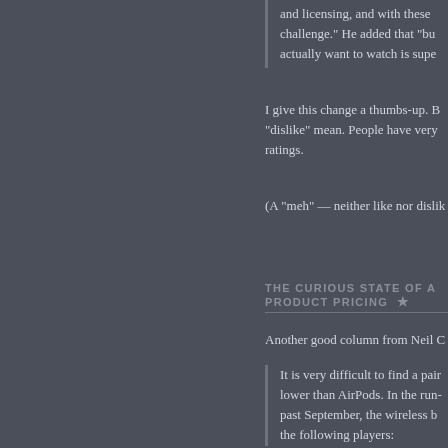and licensing, and with these challenge." He added that "bu actually want to watch is supe
I give this change a thumbs-up. B "dislike" mean. People have very ratings.
(A "meh" — neither like nor dislik
THE CURIOUS STATE OF A PRODUCT PRICING ★
Another good column from Neil C
It is very difficult to find a pair lower than AirPods. In the run- past September, the wireless b the following players: